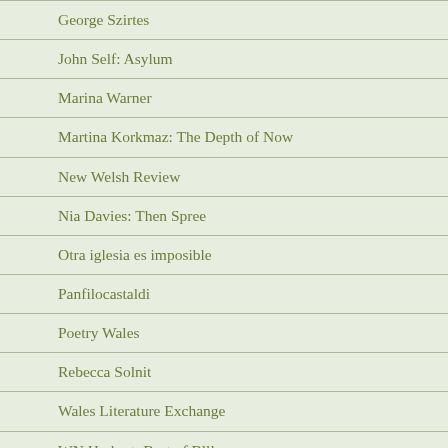George Szirtes
John Self: Asylum
Marina Warner
Martina Korkmaz: The Depth of Now
New Welsh Review
Nia Davies: Then Spree
Otra iglesia es imposible
Panfilocastaldi
Poetry Wales
Rebecca Solnit
Wales Literature Exchange
WN Herbert: Best of Blll